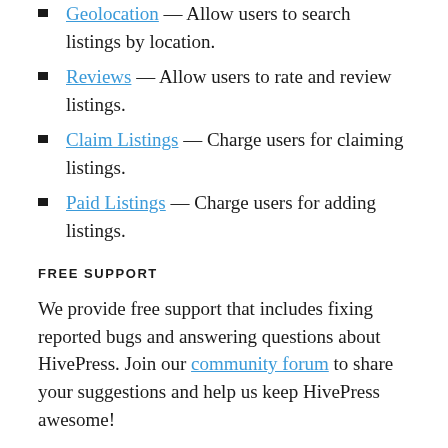Geolocation — Allow users to search listings by location.
Reviews — Allow users to rate and review listings.
Claim Listings — Charge users for claiming listings.
Paid Listings — Charge users for adding listings.
FREE SUPPORT
We provide free support that includes fixing reported bugs and answering questions about HivePress. Join our community forum to share your suggestions and help us keep HivePress awesome!
Contributors and Developers
"HivePress – Multipurpose Directory, Listing & Classifieds WordPress Plugin" is open source software. The following people have contributed to